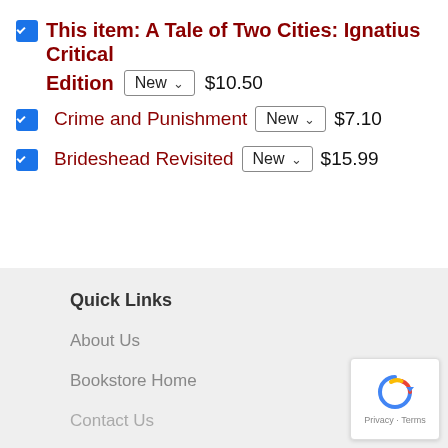This item: A Tale of Two Cities: Ignatius Critical Edition  New ∨  $10.50
Crime and Punishment  New ∨  $7.10
Brideshead Revisited  New ∨  $15.99
Quick Links
About Us
Bookstore Home
Contact Us